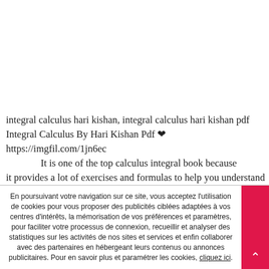integral calculus hari kishan, integral calculus hari kishan pdf Integral Calculus By Hari Kishan Pdf ❤ https://imgfil.com/1jn6ec It is one of the top calculus integral book because it provides a lot of exercises and formulas to help you understand the material .. …
En poursuivant votre navigation sur ce site, vous acceptez l'utilisation de cookies pour vous proposer des publicités ciblées adaptées à vos centres d'intérêts, la mémorisation de vos préférences et paramètres, pour faciliter votre processus de connexion, recueillir et analyser des statistiques sur les activités de nos sites et services et enfin collaborer avec des partenaires en hébergeant leurs contenus ou annonces publicitaires. Pour en savoir plus et paramétrer les cookies, cliquez ici.